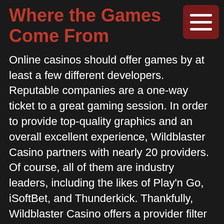Where the Games Come From
Online casinos should offer games by at least a few different developers. Reputable companies are a one-way ticket to a great gaming session. In order to provide top-quality graphics and an overall excellent experience, Wildblaster Casino partners with nearly 20 providers. Of course, all of them are industry leaders, including the likes of Play'n Go, iSoftBet, and Thunderkick. Thankfully, Wildblaster Casino offers a provider filter for its game library so that you can search quicker.
Wildblaster Casino Layout
Wildblaster Casino doesn't have much in the way of theming. Generally, it uses images featuring characters from popular slots. The site has a predominantly dark